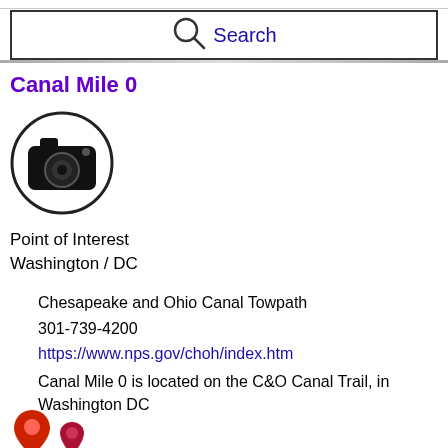Search
Canal Mile 0
[Figure (illustration): Camera icon inside a circle]
Point of Interest
Washington / DC
Chesapeake and Ohio Canal Towpath
301-739-4200
https://www.nps.gov/choh/index.htm
Canal Mile 0 is located on the C&O Canal Trail, in Washington DC
[Figure (map): Two map pin/location markers (red and pink/maroon) at the bottom of the page]